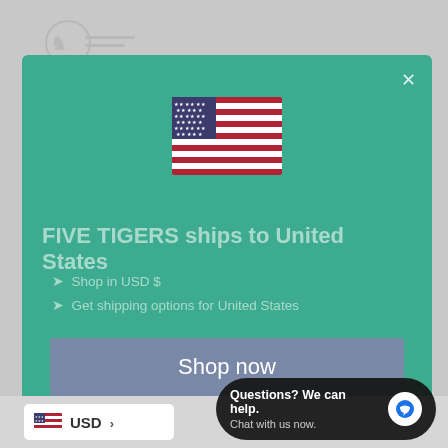[Figure (screenshot): Modal dialog on e-commerce site showing US flag, shipping notice, and Shop now button]
FIVE TIGERS ships to United States
Shop in USD $
Get shipping options for United States
Shop now
Change shipping country
USD >
Questions? We can help. Chat with us now.